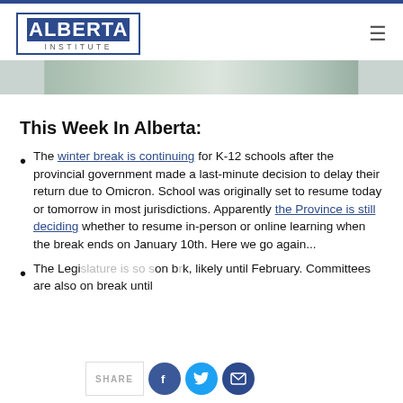ALBERTA INSTITUTE
[Figure (photo): Partial view of a building or landscape hero image banner]
This Week In Alberta:
The winter break is continuing for K-12 schools after the provincial government made a last-minute decision to delay their return due to Omicron. School was originally set to resume today or tomorrow in most jurisdictions. Apparently the Province is still deciding whether to resume in-person or online learning when the break ends on January 10th. Here we go again...
The Legislature is so something break, likely until February. Committees are also on break until